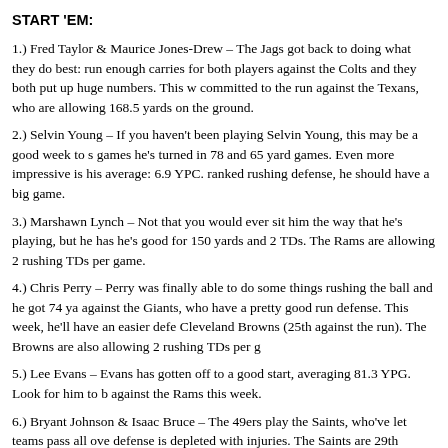START 'EM:
1.) Fred Taylor & Maurice Jones-Drew – The Jags got back to doing what they do best: run enough carries for both players against the Colts and they both put up huge numbers. This w committed to the run against the Texans, who are allowing 168.5 yards on the ground.
2.) Selvin Young – If you haven't been playing Selvin Young, this may be a good week to s games he's turned in 78 and 65 yard games. Even more impressive is his average: 6.9 YPC. ranked rushing defense, he should have a big game.
3.) Marshawn Lynch – Not that you would ever sit him the way that he's playing, but he has he's good for 150 yards and 2 TDs. The Rams are allowing 2 rushing TDs per game.
4.) Chris Perry – Perry was finally able to do some things rushing the ball and he got 74 ya against the Giants, who have a pretty good run defense. This week, he'll have an easier defe Cleveland Browns (25th against the run). The Browns are also allowing 2 rushing TDs per g
5.) Lee Evans – Evans has gotten off to a good start, averaging 81.3 YPG. Look for him to b against the Rams this week.
6.) Bryant Johnson & Isaac Bruce – The 49ers play the Saints, who've let teams pass all ove defense is depleted with injuries. The Saints are 29th against the pass. J.T. O'Sullivan is loo 49ers surprisingly have the 12th ranked passing offense.
7.) DeSean Jackson – The Bears may be good against the run, but they're struggling against Westbrook possibly out of the lineup Sunday, look for McNabb to be passing the ball often has been DeSean Jackson. Reggie Brown may be another option, but he didn't do anything be recovering from a lingering hamstring injury, which also makes Greg Lewis another goo